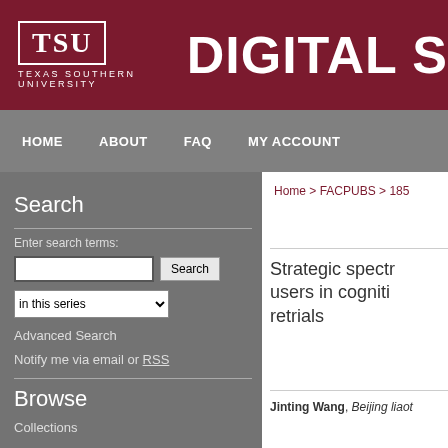TSU TEXAS SOUTHERN UNIVERSITY | DIGITAL S
HOME  ABOUT  FAQ  MY ACCOUNT
Search
Enter search terms:
in this series
Advanced Search
Notify me via email or RSS
Browse
Collections
Home > FACPUBS > 185
Strategic spectr users in cogniti retrials
Jinting Wang, Beijing liaot